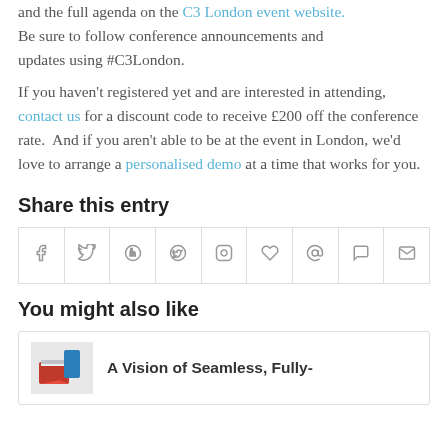and the full agenda on the C3 London event website. Be sure to follow conference announcements and updates using #C3London.
If you haven't registered yet and are interested in attending, contact us for a discount code to receive £200 off the conference rate. And if you aren't able to be at the event in London, we'd love to arrange a personalised demo at a time that works for you.
Share this entry
[Figure (other): Social share buttons row: Facebook, Twitter, Google+, Pinterest, LinkedIn, Tumblr, VK, Reddit, Email]
You might also like
A Vision of Seamless, Fully-